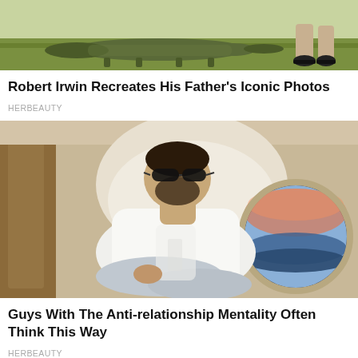[Figure (photo): Crocodile walking on green grass with a person's legs visible in the background]
Robert Irwin Recreates His Father's Iconic Photos
HERBEAUTY
[Figure (photo): Man in white hoodie and sunglasses sitting cross-legged in a private jet seat next to a round window showing a sunset sky]
Guys With The Anti-relationship Mentality Often Think This Way
HERBEAUTY